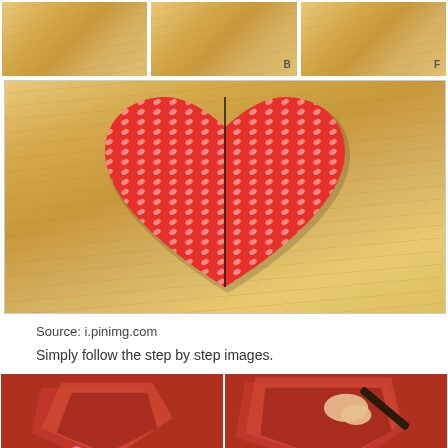[Figure (photo): Three cropped step-by-step images of origami/paper folding on a wooden surface, partially cut off at top]
[Figure (photo): A completed origami heart made from red and pink patterned paper on a wooden background, showing the center fold line]
Source: i.pinimg.com
Simply follow the step by step images.
[Figure (photo): Two side-by-side images showing hands working with red paper in origami folding steps]